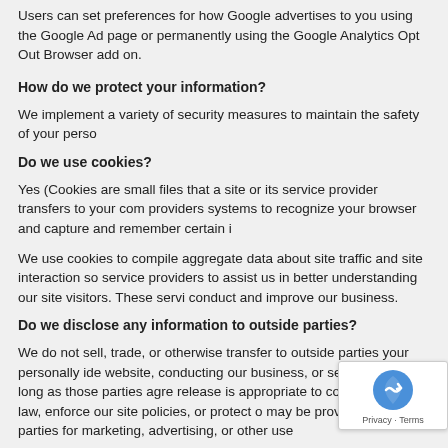Users can set preferences for how Google advertises to you using the Google Ad page or permanently using the Google Analytics Opt Out Browser add on.
How do we protect your information?
We implement a variety of security measures to maintain the safety of your perso
Do we use cookies?
Yes (Cookies are small files that a site or its service provider transfers to your co providers systems to recognize your browser and capture and remember certain i
We use cookies to compile aggregate data about site traffic and site interaction so service providers to assist us in better understanding our site visitors. These servi conduct and improve our business.
Do we disclose any information to outside parties?
We do not sell, trade, or otherwise transfer to outside parties your personally ide website, conducting our business, or servicing you, so long as those parties agre release is appropriate to comply with the law, enforce our site policies, or protect may be provided to other parties for marketing, advertising, or other use
California Online Privacy Protection Act Compliance